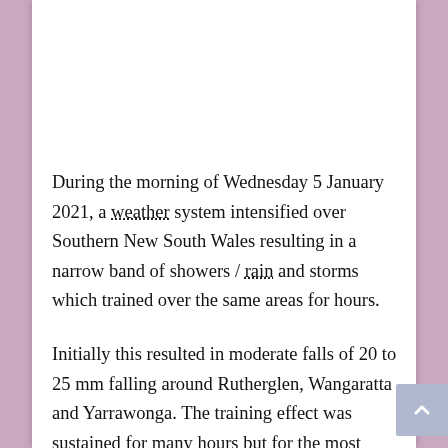During the morning of Wednesday 5 January 2021, a weather system intensified over Southern New South Wales resulting in a narrow band of showers / rain and storms which trained over the same areas for hours.
Initially this resulted in moderate falls of 20 to 25 mm falling around Rutherglen, Wangaratta and Yarrawonga. The training effect was sustained for many hours but for the most part, the system was barely 100 km in width.